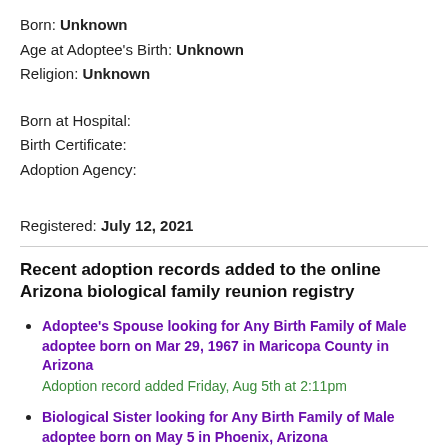Born: Unknown
Age at Adoptee's Birth: Unknown
Religion: Unknown
Born at Hospital:
Birth Certificate:
Adoption Agency:
Registered: July 12, 2021
Recent adoption records added to the online Arizona biological family reunion registry
Adoptee's Spouse looking for Any Birth Family of Male adoptee born on Mar 29, 1967 in Maricopa County in Arizona
Adoption record added Friday, Aug 5th at 2:11pm
Biological Sister looking for Any Birth Family of Male adoptee born on May 5 in Phoenix, Arizona
Adoption record added Monday, Jul 11th at 9:53am
Birth Mother looking for Male adoptee born on Mar 19, 2001 in [Arizona]